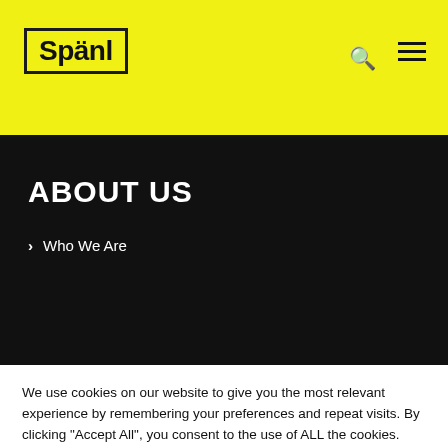Spänl
ABOUT US
> Who We Are
We use cookies on our website to give you the most relevant experience by remembering your preferences and repeat visits. By clicking "Accept All", you consent to the use of ALL the cookies. However, you may visit "Cookie Settings" to provide a controlled consent.
Cookie Settings | Accept All